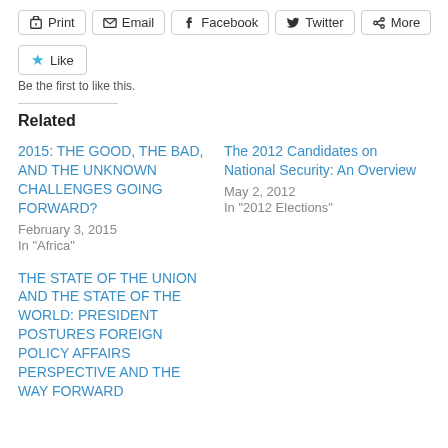Print | Email | Facebook | Twitter | More
Like
Be the first to like this.
Related
2015: THE GOOD, THE BAD, AND THE UNKNOWN CHALLENGES GOING FORWARD?
February 3, 2015
In "Africa"
The 2012 Candidates on National Security: An Overview
May 2, 2012
In "2012 Elections"
THE STATE OF THE UNION AND THE STATE OF THE WORLD: PRESIDENT POSTURES FOREIGN POLICY AFFAIRS PERSPECTIVE AND THE WAY FORWARD